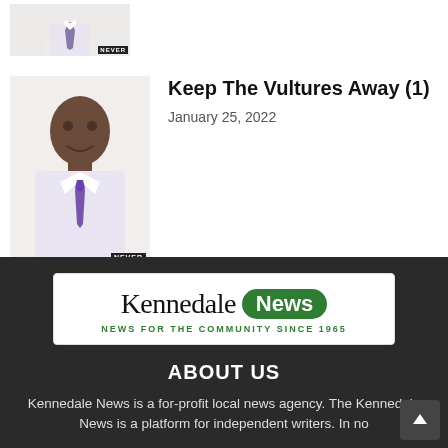[Figure (photo): Partial view of a man in shirt and tie, cropped at top, with NEVER text overlay at bottom right]
Keep The Vultures Away (1)
January 25, 2022
[Figure (logo): Kennedale News logo - text 'Kennedale' in serif font beside green rounded badge with 'News', tagline: NEWS FOR THE COMMUNITY SINCE 1965]
ABOUT US
Kennedale News is a for-profit local news agency. The Kennedale News is a platform for independent writers. In no